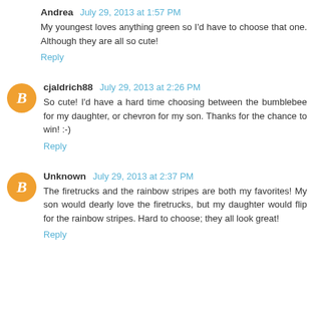Andrea  July 29, 2013 at 1:57 PM
My youngest loves anything green so I'd have to choose that one. Although they are all so cute!
Reply
cjaldrich88  July 29, 2013 at 2:26 PM
So cute! I'd have a hard time choosing between the bumblebee for my daughter, or chevron for my son. Thanks for the chance to win! :-)
Reply
Unknown  July 29, 2013 at 2:37 PM
The firetrucks and the rainbow stripes are both my favorites! My son would dearly love the firetrucks, but my daughter would flip for the rainbow stripes. Hard to choose; they all look great!
Reply